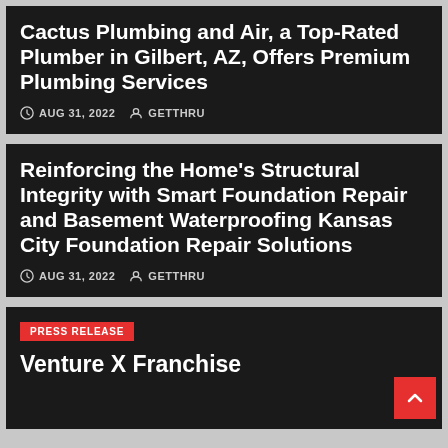Cactus Plumbing and Air, a Top-Rated Plumber in Gilbert, AZ, Offers Premium Plumbing Services
AUG 31, 2022  GETTHRU
Reinforcing the Home's Structural Integrity with Smart Foundation Repair and Basement Waterproofing Kansas City Foundation Repair Solutions
AUG 31, 2022  GETTHRU
PRESS RELEASE
Venture X Franchise